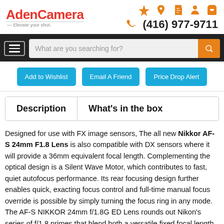AdenCamera — Elevate your shot. (416) 977-9711
[Figure (screenshot): Navigation bar with hamburger menu and search box 'What are you searching for?']
Add to Wishlist | Email A Friend | Price Drop Alert
Description | What's in the box
Designed for use with FX image sensors, The all new Nikkor AF-S 24mm F1.8 Lens is also compatible with DX sensors where it will provide a 36mm equivalent focal length. Complementing the optical design is a Silent Wave Motor, which contributes to fast, quiet autofocus performance. Its rear focusing design further enables quick, exacting focus control and full-time manual focus override is possible by simply turning the focus ring in any mode.
The AF-S NIKKOR 24mm f/1.8G ED Lens rounds out Nikon's series of f/1.8 primes that blend both a versatile fixed focal length